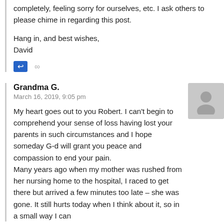completely, feeling sorry for ourselves, etc. I ask others to please chime in regarding this post.
Hang in, and best wishes,
David
Grandma G.
March 16, 2019, 9:05 pm
My heart goes out to you Robert. I can't begin to comprehend your sense of loss having lost your parents in such circumstances and I hope someday G-d will grant you peace and compassion to end your pain.
Many years ago when my mother was rushed from her nursing home to the hospital, I raced to get there but arrived a few minutes too late – she was gone. It still hurts today when I think about it, so in a small way I can